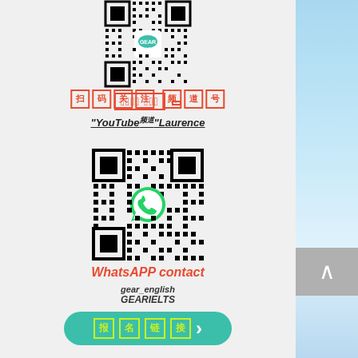[Figure (other): QR code with logo in center for a Chinese platform]
扫码 关注
"YouTube频道"Laurence
[Figure (other): QR code with WhatsApp logo in center]
WhatsAPP contact
gear_english
GEARIELTS
立即报名 >